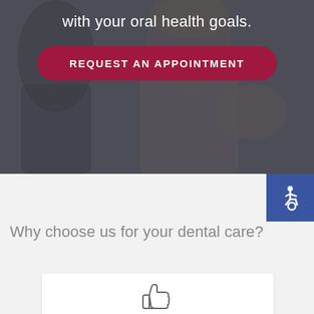with your oral health goals.
REQUEST AN APPOINTMENT
[Figure (illustration): Accessibility icon (wheelchair symbol) in white on blue background]
Why choose us for your dental care?
[Figure (illustration): Thumbs up icon in gray outline style]
HIGHLY EXPERIENCED &